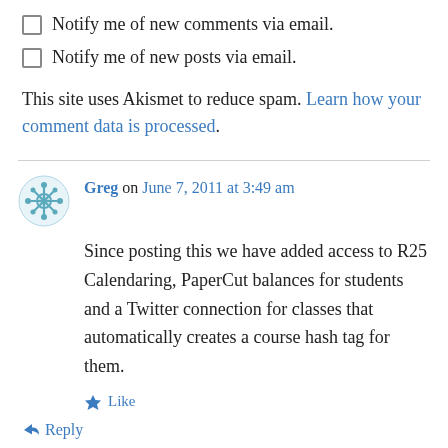Notify me of new comments via email.
Notify me of new posts via email.
This site uses Akismet to reduce spam. Learn how your comment data is processed.
Greg on June 7, 2011 at 3:49 am
Since posting this we have added access to R25 Calendaring, PaperCut balances for students and a Twitter connection for classes that automatically creates a course hash tag for them.
Like
Reply